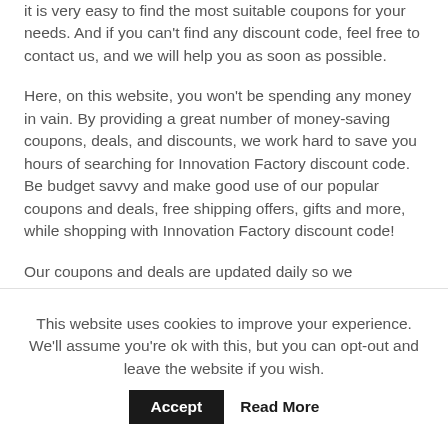it is very easy to find the most suitable coupons for your needs. And if you can't find any discount code, feel free to contact us, and we will help you as soon as possible.
Here, on this website, you won't be spending any money in vain. By providing a great number of money-saving coupons, deals, and discounts, we work hard to save you hours of searching for Innovation Factory discount code. Be budget savvy and make good use of our popular coupons and deals, free shipping offers, gifts and more, while shopping with Innovation Factory discount code!
Our coupons and deals are updated daily so we guarantee that every one of them works. In case you
This website uses cookies to improve your experience. We'll assume you're ok with this, but you can opt-out and leave the website if you wish.